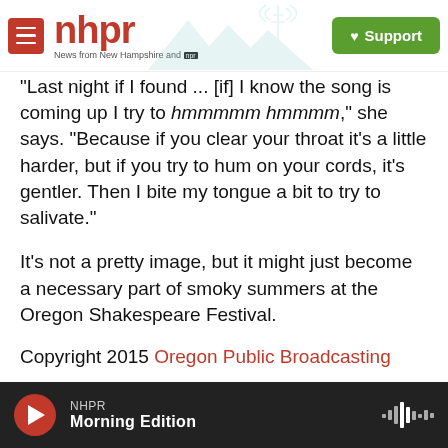[Figure (logo): NHPR logo with menu icon, mountain/radio tower illustration, and green Support button]
"Last night if I found ... [if] I know the song is coming up I try to hmmmmm hmmmm," she says. "Because if you clear your throat it's a little harder, but if you try to hum on your cords, it's gentler. Then I bite my tongue a bit to try to salivate."
It's not a pretty image, but it might just become a necessary part of smoky summers at the Oregon Shakespeare Festival.
Copyright 2015 Oregon Public Broadcasting
National
NHPR Morning Edition